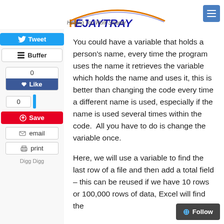THEJAYTRAY – Helping You Work Smarter
You could have a variable that holds a person's name, every time the program uses the name it retrieves the variable which holds the name and uses it, this is better than changing the code every time a different name is used, especially if the name is used several times within the code.  All you have to do is change the variable once.
Here, we will use a variable to find the last row of a file and then add a total field – this can be reused if we have 10 rows or 100,000 rows of data, Excel will find the